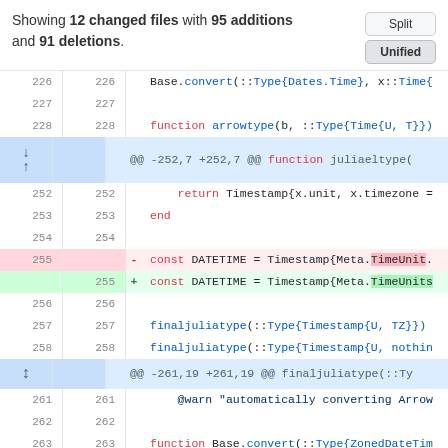Showing 12 changed files with 95 additions and 91 deletions.
[Figure (screenshot): Git diff view showing code changes with line numbers, deleted lines highlighted in red and added lines in green, hunk headers in blue]
226  226    Base.convert(::Type{Dates.Time}, x::Time{
227  227
228  228    function arrowtype(b, ::Type{Time{U, T}})
@@ -252,7 +252,7 @@ function juliaeltype(
252  252        return Timestamp{x.unit, x.timezone =
253  253    end
254  254
255  -  const DATETIME = Timestamp{Meta.TimeUnit.
255  +  const DATETIME = Timestamp{Meta.TimeUnits
256  256
257  257    finaljuliatype(::Type{Timestamp{U, TZ}})
258  258    finaljuliatype(::Type{Timestamp{U, nothin
@@ -261,19 +261,19 @@ finaljuliatype(::Ty
261  261        @warn "automatically converting Arrow
262  262
263  263    function Base.convert(::Type{ZonedDateTim
264  -    (U === Meta.TimeUnit.MICROSECOND ||